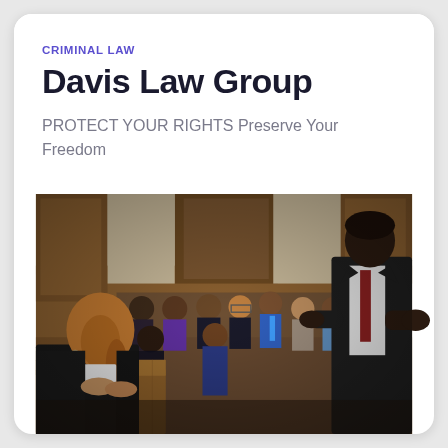CRIMINAL LAW
Davis Law Group
PROTECT YOUR RIGHTS Preserve Your Freedom
[Figure (photo): Courtroom scene with an attorney in a dark suit standing on the right addressing a seated woman in a black jacket at a wooden desk, with a jury and gallery of people seated in the background in a wood-paneled courtroom.]